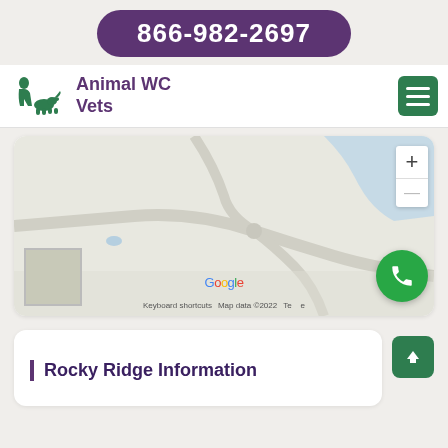866-982-2697
Animal WC Vets
[Figure (map): Google Maps embed showing a rural road area with zoom controls, a satellite thumbnail, and Google branding with 'Keyboard shortcuts', 'Map data ©2022' text at the bottom.]
Rocky Ridge Information